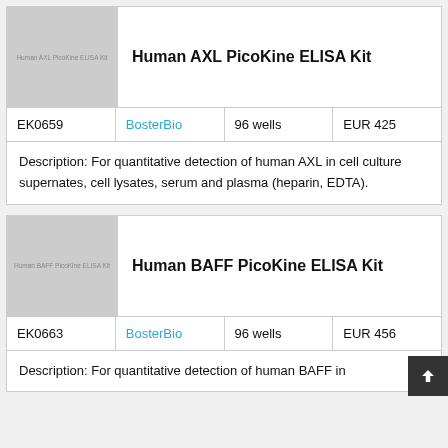[Figure (photo): Product image placeholder for Human AXL PicoKine ELISA Kit, gray background with label text]
Human AXL PicoKine ELISA Kit
| EK0659 | BosterBio | 96 wells | EUR 425 |
| --- | --- | --- | --- |
Description: For quantitative detection of human AXL in cell culture supernates, cell lysates, serum and plasma (heparin, EDTA).
[Figure (photo): Product image placeholder for Human BAFF PicoKine ELISA Kit, gray background with label text]
Human BAFF PicoKine ELISA Kit
| EK0663 | BosterBio | 96 wells | EUR 456 |
| --- | --- | --- | --- |
Description: For quantitative detection of human BAFF in